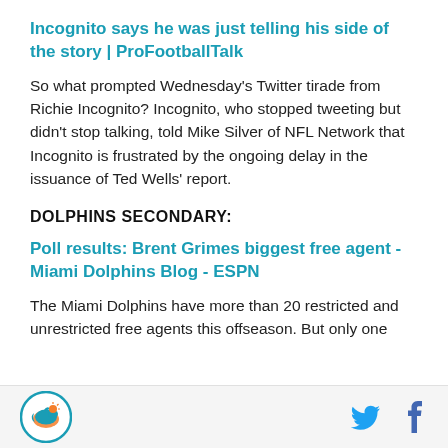Incognito says he was just telling his side of the story | ProFootballTalk
So what prompted Wednesday's Twitter tirade from Richie Incognito? Incognito, who stopped tweeting but didn't stop talking, told Mike Silver of NFL Network that Incognito is frustrated by the ongoing delay in the issuance of Ted Wells' report.
DOLPHINS SECONDARY:
Poll results: Brent Grimes biggest free agent - Miami Dolphins Blog - ESPN
The Miami Dolphins have more than 20 restricted and unrestricted free agents this offseason. But only one
Miami Dolphins logo, Twitter icon, Facebook icon